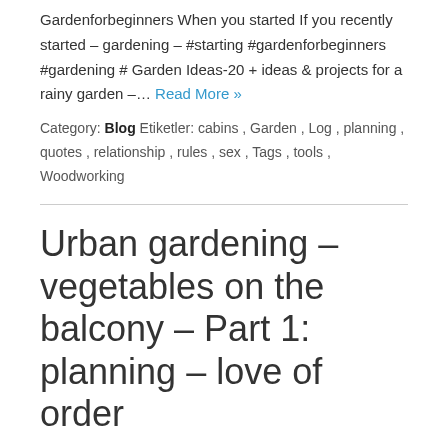Gardenforbeginners When you started If you recently started – gardening – #starting #gardenforbeginners #gardening # Garden Ideas-20 + ideas & projects for a rainy garden –… Read More »
Category: Blog Etiketler: cabins , Garden , Log , planning , quotes , relationship , rules , sex , Tags , tools , Woodworking
Urban gardening – vegetables on the balcony – Part 1: planning – love of order
Urban gardening – vegetables on the balcony – Part 1: planning – love of order Would you like peppers, zucchini & salad from the balcony? My planning for vegetables on the